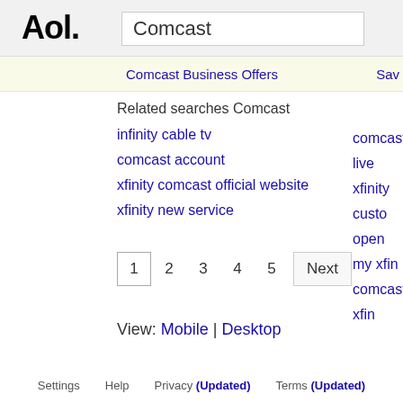Aol.
Comcast
Comcast Business Offers   Sav
Related searches Comcast
infinity cable tv
comcast account
xfinity comcast official website
xfinity new service
comcast live
xfinity custo
open my xfin
comcast xfin
1  2  3  4  5  Next
View: Mobile | Desktop
Settings   Help   Privacy (Updated)   Terms (Updated)